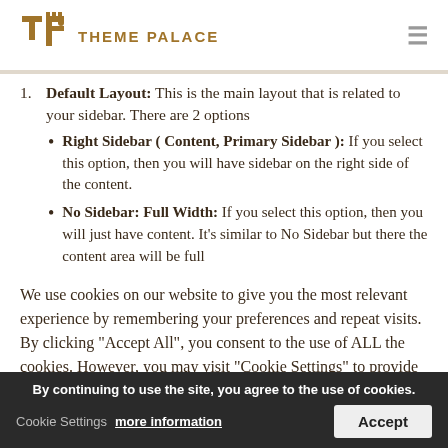THEME PALACE
Default Layout: This is the main layout that is related to your sidebar. There are 2 options
Right Sidebar ( Content, Primary Sidebar ): If you select this option, then you will have sidebar on the right side of the content.
No Sidebar: Full Width: If you select this option, then you will just have content. It's similar to No Sidebar but there the content area will be full
We use cookies on our website to give you the most relevant experience by remembering your preferences and repeat visits. By clicking “Accept All”, you consent to the use of ALL the cookies. However, you may visit "Cookie Settings" to provide a controlled consent.
By continuing to use the site, you agree to the use of cookies. more information Accept